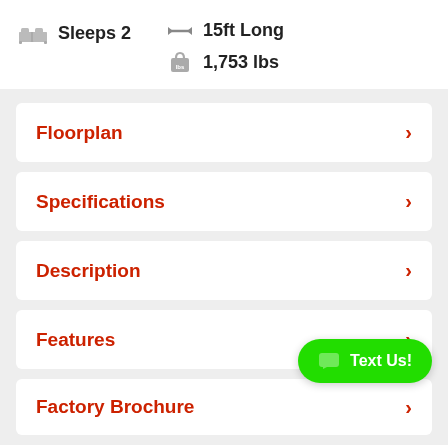Sleeps 2
15ft Long
1,753 lbs
Floorplan
Specifications
Description
Features
Factory Brochure